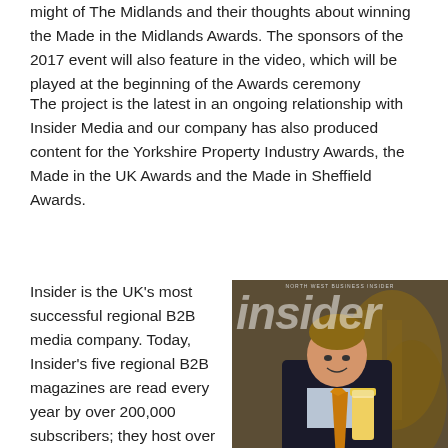might of The Midlands and their thoughts about winning the Made in the Midlands Awards. The sponsors of the 2017 event will also feature in the video, which will be played at the beginning of the Awards ceremony
The project is the latest in an ongoing relationship with Insider Media and our company has also produced content for the Yorkshire Property Industry Awards, the Made in the UK Awards and the Made in Sheffield Awards.
Insider is the UK’s most successful regional B2B media company. Today, Insider’s five regional B2B magazines are read every year by over 200,000 subscribers; they host over 140 market-leading events including award dinners in all regions outside London and side and
[Figure (photo): Cover of Insider magazine showing a man in a suit holding a pint of beer in what appears to be a brewery. The cover reads 'REAL ALE REVOLUTION' with subtitle 'JAMES STAUGHTON AND THE RISE OF ST AUSTELL BREWERY'. Small portrait photos of Rob Lair, Martin Gregory, and Richard Bourne are shown at the bottom.]